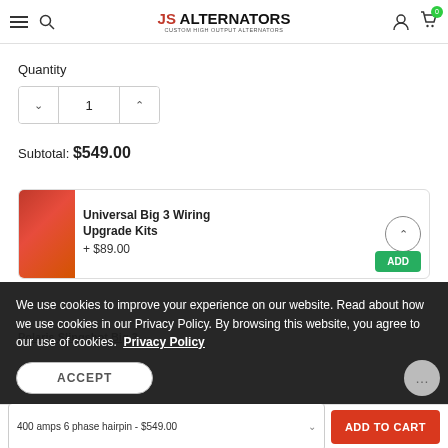JS Alternators - Custom High Output Alternators
Quantity
1
Subtotal: $549.00
Universal Big 3 Wiring Upgrade Kits  + $89.00
We use cookies to improve your experience on our website. Read about how we use cookies in our Privacy Policy. By browsing this website, you agree to our use of cookies.  Privacy Policy
ACCEPT
Polaris Slingshot Big 3
400 amps 6 phase hairpin - $549.00   ADD TO CART